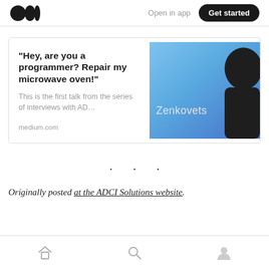Medium logo | Open in app | Get started
[Figure (screenshot): Article card for a Medium article titled 'Hey, are you a programmer? Repair my microwave oven!' with subtitle 'This is the first talk from the series of interviews with AD...' and domain 'medium.com', alongside a photo of a person (Zenkovets) against a blue gradient background]
· · ·
Originally posted at the ADCI Solutions website.
Home | Search | Profile icons